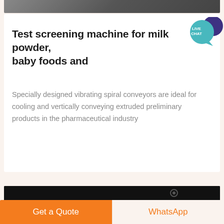[Figure (photo): Top portion of a machine photo, partially cropped at the top of the page]
Test screening machine for milk powder, baby foods and
Specially designed vibrating spiral conveyors are ideal for cooling and vertically conveying extruded preliminary products in the pharmaceutical industry
[Figure (photo): Bottom dark image bar showing partial product/machine image with gear icon visible]
Get a Quote
WhatsApp